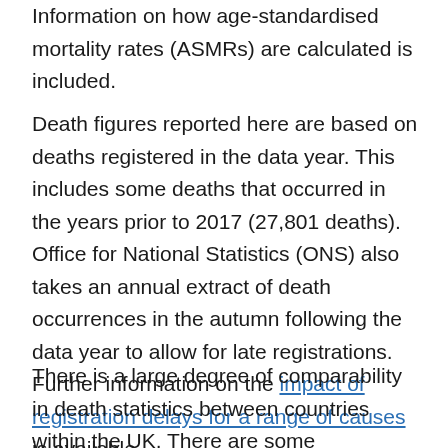Information on how age-standardised mortality rates (ASMRs) are calculated is included.
Death figures reported here are based on deaths registered in the data year. This includes some deaths that occurred in the years prior to 2017 (27,801 deaths). Office for National Statistics (ONS) also takes an annual extract of death occurrences in the autumn following the data year to allow for late registrations. Further information on the impact of registration delays for a range of causes is available.
There is a large degree of comparability in death statistics between countries within the UK. There are some differences, although these are believed to have